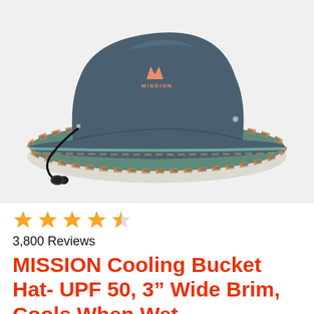[Figure (photo): A navy blue bucket hat with a wide brim featuring a tropical pattern trim, a Mission logo (orange M with MISSION text) on the front, a drawstring chin cord in black, and a small silver eyelet on the side. The hat is photographed on a white background.]
★★★★½
3,800 Reviews
MISSION Cooling Bucket Hat- UPF 50, 3" Wide Brim, Cools When Wet